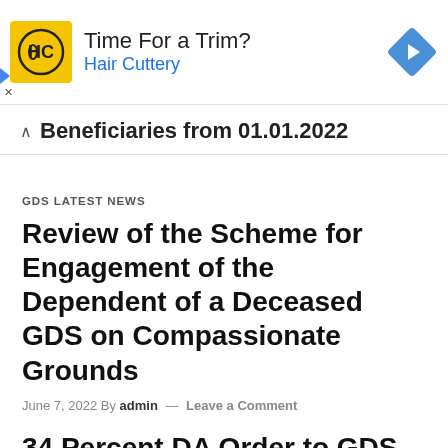[Figure (infographic): Advertisement banner for Hair Cuttery. Yellow square logo with HC lettering, text 'Time For a Trim?' and 'Hair Cuttery' in blue, navigation arrow diamond icon on right.]
Beneficiaries from 01.01.2022
GDS LATEST NEWS
Review of the Scheme for Engagement of the Dependent of a Deceased GDS on Compassionate Grounds
June 7, 2022 By admin — Leave a Comment
34 Percent DA Order to GDS